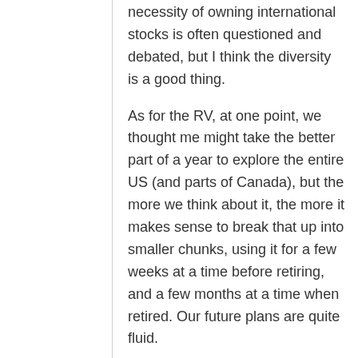necessity of owning international stocks is often questioned and debated, but I think the diversity is a good thing.
As for the RV, at one point, we thought me might take the better part of a year to explore the entire US (and parts of Canada), but the more we think about it, the more it makes sense to break that up into smaller chunks, using it for a few weeks at a time before retiring, and a few months at a time when retired. Our future plans are quite fluid.
Cheers!
-PoF
Reply